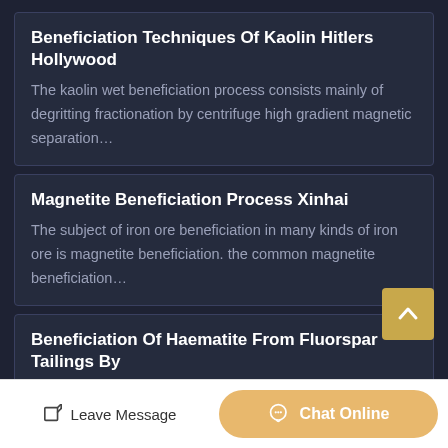Beneficiation Techniques Of Kaolin Hitlers Hollywood
The kaolin wet beneficiation process consists mainly of degritting fractionation by centrifuge high gradient magnetic separation…
Magnetite Beneficiation Process Xinhai
The subject of iron ore beneficiation in many kinds of iron ore is magnetite beneficiation. the common magnetite beneficiation…
Beneficiation Of Haematite From Fluorspar Tailings By
These tailings can be subjected to beneficiation to yield a haematite concentrate containing 61.5 to 66 fe and less than 3 sio 2 filippo…
What Is The Common Beneficiation Process For Tungsten
Leave Message
Chat Online